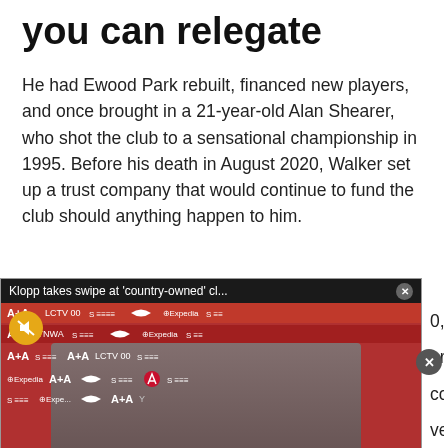you can relegate
He had Ewood Park rebuilt, financed new players, and once brought in a 21-year-old Alan Shearer, who shot the club to a sensational championship in 1995. Before his death in August 2020, Walker set up a trust company that would continue to fund the club should anything happen to him.
[Figure (screenshot): Video popup overlay showing 'Klopp takes swipe at country-owned cl...' with a video thumbnail of Jurgen Klopp in a press conference with Liverpool FC / Expedia sponsor backdrop, mute icon visible, and an X close button. Partially obscures article text showing fragments: '0, when an agency', 'or. The choice fell on', 'completely unknown', 'ved" talks with both', 'eague, which']